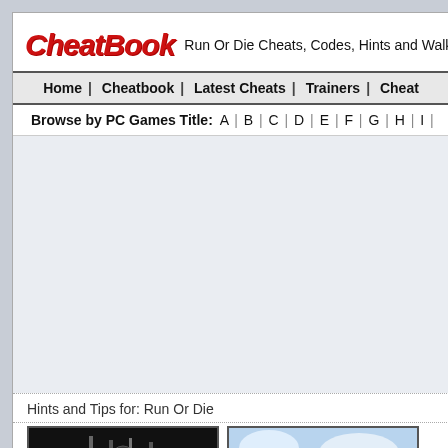CheatBook  Run Or Die Cheats, Codes, Hints and Walkth
Home | Cheatbook | Latest Cheats | Trainers | Cheat
Browse by PC Games Title:  A | B | C | D | E | F | G | H | I |
[Figure (other): Advertisement/empty space area]
Hints and Tips for: Run Or Die
[Figure (screenshot): Dark screenshot image from Run Or Die game]
[Figure (screenshot): Light/sky screenshot image from Run Or Die game]